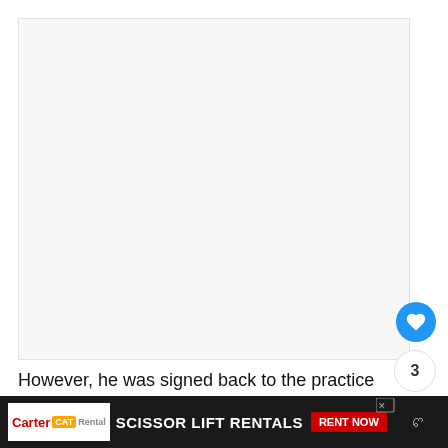[Figure (other): Large white/light gray blank content area, likely where an image or video was rendered]
However, he was signed back to the practice squ
In September of 2022
[Figure (other): Advertisement banner: Carter CAT Rental - SCISSOR LIFT RENTALS - RENT NOW]